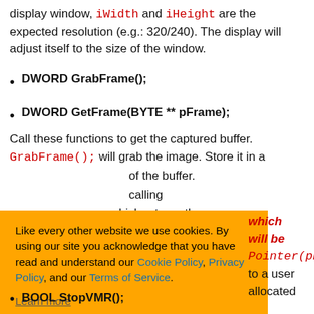display window, iWidth and iHeight are the expected resolution (e.g.: 320/240). The display will adjust itself to the size of the window.
DWORD GrabFrame();
DWORD GetFrame(BYTE ** pFrame);
Call these functions to get the captured buffer. GrabFrame(); will grab the image. Store it in a [buffer] of the buffer. [calling] [which returns the ...]
[Figure (screenshot): Cookie consent banner with orange background, containing text about cookies, links to Cookie Policy, Privacy Policy, Terms of Service, a Learn more link, and three buttons: Ask me later, Decline, Allow cookies.]
which will be Pointer(pFrame) to a user allocated
BOOL StopVMR();